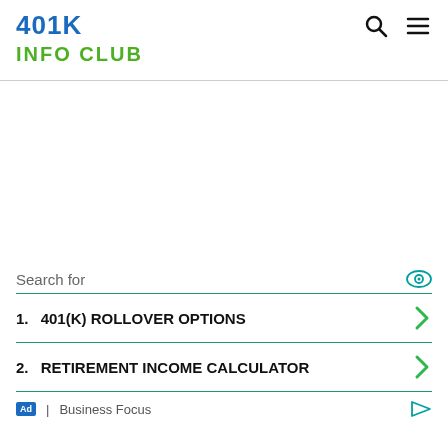401K INFO CLUB
Search for
1. 401(K) ROLLOVER OPTIONS
2. RETIREMENT INCOME CALCULATOR
Ad | Business Focus